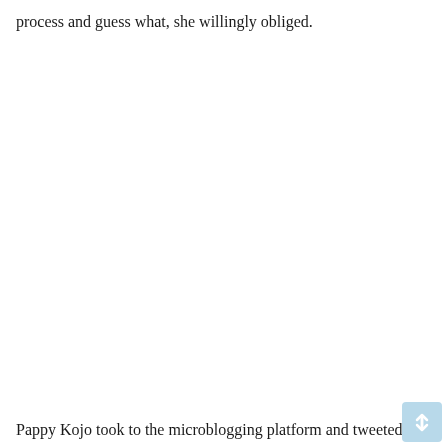process and guess what, she willingly obliged.
Pappy Kojo took to the microblogging platform and tweeted the